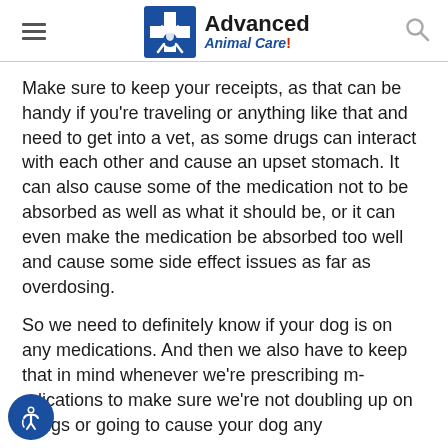Advanced Animal Care!
Make sure to keep your receipts, as that can be handy if you're traveling or anything like that and need to get into a vet, as some drugs can interact with each other and cause an upset stomach. It can also cause some of the medication not to be absorbed as well as what it should be, or it can even make the medication be absorbed too well and cause some side effect issues as far as overdosing.
So we need to definitely know if your dog is on any medications. And then we also have to keep that in mind whenever we're prescribing medications to make sure we're not doubling up on things or going to cause your dog any